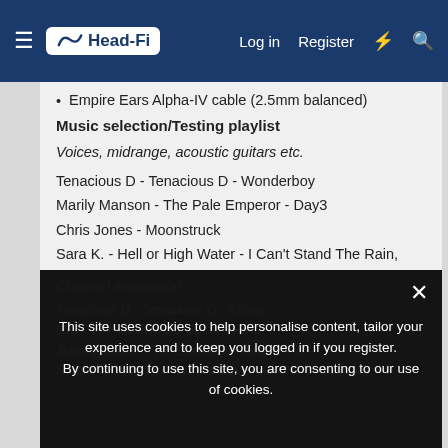Head-Fi | Log in | Register
Empire Ears Alpha-IV cable (2.5mm balanced)
Music selection/Testing playlist
Voices, midrange, acoustic guitars etc.
Tenacious D - Tenacious D - Wonderboy
Marily Manson - The Pale Emperor - Day3
Chris Jones - Moonstruck
Sara K. - Hell or High Water - I Can't Stand The Rain, Stars
Ana Tijoux - 1977 - Partir de Cero
Channel separation
Tenacious D - Tenacious D - Killing... NIN - The Downward Spiral - Hurt Johnny Cash - The Essential - Ring of Fire Stephen Coleman - Westworld Season 2 Soundtrack -
This site uses cookies to help personalise content, tailor your experience and to keep you logged in if you register. By continuing to use this site, you are consenting to our use of cookies.